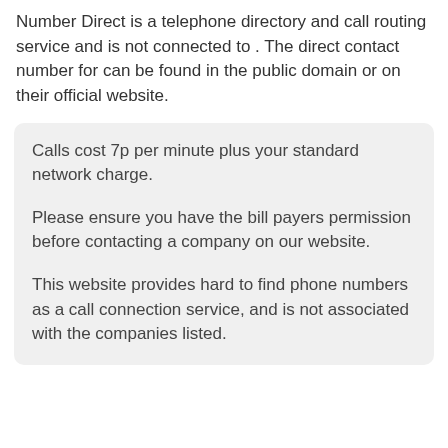Number Direct is a telephone directory and call routing service and is not connected to . The direct contact number for can be found in the public domain or on their official website.
Calls cost 7p per minute plus your standard network charge.

Please ensure you have the bill payers permission before contacting a company on our website.

This website provides hard to find phone numbers as a call connection service, and is not associated with the companies listed.